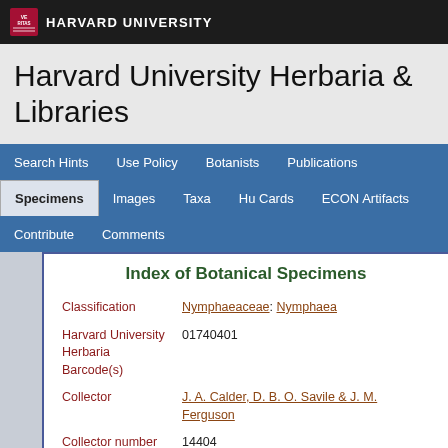HARVARD UNIVERSITY
Harvard University Herbaria & Libraries
Search Hints | Use Policy | Botanists | Publications | Specimens | Images | Taxa | Hu Cards | ECON Artifacts | Contribute | Comments
Index of Botanical Specimens
| Field | Value |
| --- | --- |
| Classification | Nymphaeaceae: Nymphaea |
| Harvard University Herbaria Barcode(s) | 01740401 |
| Collector | J. A. Calder, D. B. O. Savile & J. M. Ferguson |
| Collector number | 14404 |
| Country | Canada |
| State | British Columbia |